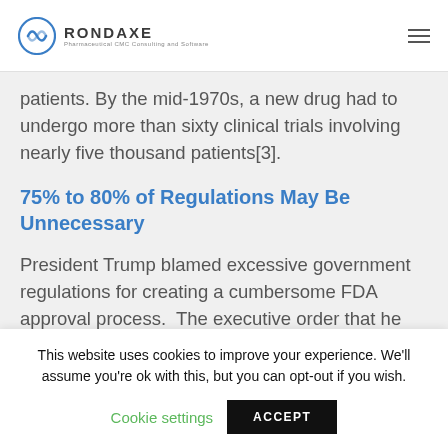RONDAXE Pharmaceutical CMC Consulting and Software
patients. By the mid-1970s, a new drug had to undergo more than sixty clinical trials involving nearly five thousand patients[3].
75% to 80% of Regulations May Be Unnecessary
President Trump blamed excessive government regulations for creating a cumbersome FDA approval process. The executive order that he signed, January
This website uses cookies to improve your experience. We'll assume you're ok with this, but you can opt-out if you wish.
Cookie settings   ACCEPT